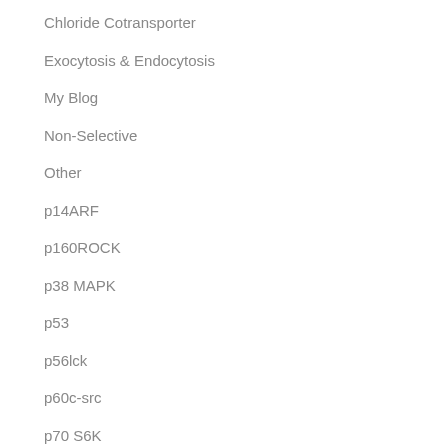Chloride Cotransporter
Exocytosis & Endocytosis
My Blog
Non-Selective
Other
p14ARF
p160ROCK
p38 MAPK
p53
p56lck
p60c-src
p70 S6K
p75
p90 Ribosomal S6 Kinase